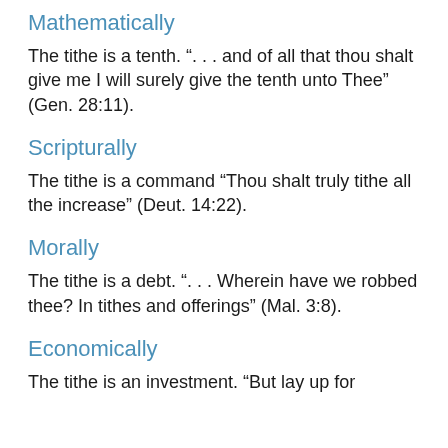Mathematically
The tithe is a tenth. “. . . and of all that thou shalt give me I will surely give the tenth unto Thee” (Gen. 28:11).
Scripturally
The tithe is a command “Thou shalt truly tithe all the increase” (Deut. 14:22).
Morally
The tithe is a debt. “. . . Wherein have we robbed thee? In tithes and offerings” (Mal. 3:8).
Economically
The tithe is an investment. “But lay up for